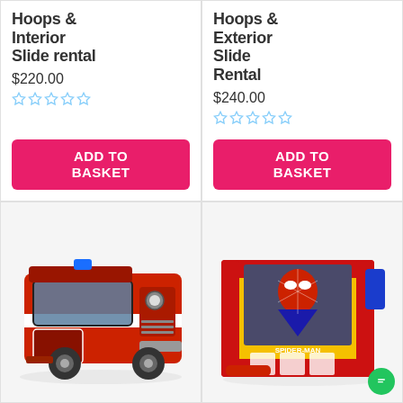Hoops & Interior Slide rental
$220.00
Hoops & Exterior Slide Rental
$240.00
[Figure (photo): Red inflatable fire truck bounce house]
[Figure (photo): Spider-Man themed inflatable bounce house in yellow, red, and blue]